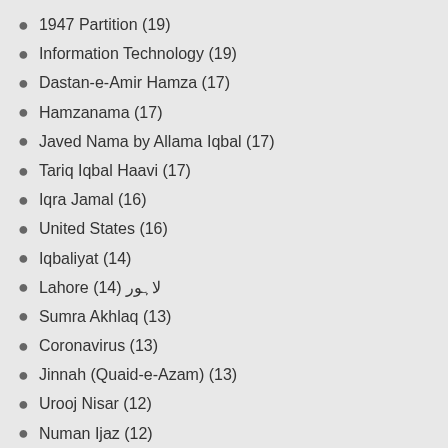1947 Partition (19)
Information Technology (19)
Dastan-e-Amir Hamza (17)
Hamzanama (17)
Javed Nama by Allama Iqbal (17)
Tariq Iqbal Haavi (17)
Iqra Jamal (16)
United States (16)
Iqbaliyat (14)
Lahore (14) لاہور
Sumra Akhlaq (13)
Coronavirus (13)
Jinnah (Quaid-e-Azam) (13)
Urooj Nisar (12)
Numan Ijaz (12)
Kawish Abbasi (12)
Shahram Sarmadee (12)
Parveen Shakir (11)
Shams Raja (11)